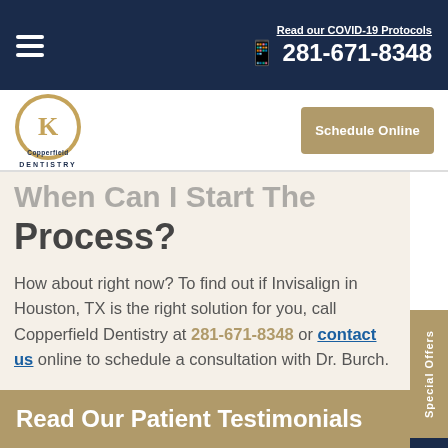Read our COVID-19 Protocols | 281-671-8348
[Figure (logo): Copperfield Dentistry circular logo with stylized K letter and text 'Copperfield DENTISTRY']
Schedule Online
When Can I Start The Process?
How about right now? To find out if Invisalign in Houston, TX is the right solution for you, call Copperfield Dentistry at 281-671-8348 or contact us online to schedule a consultation with Dr. Burch.
Read Our Patient Testimonials